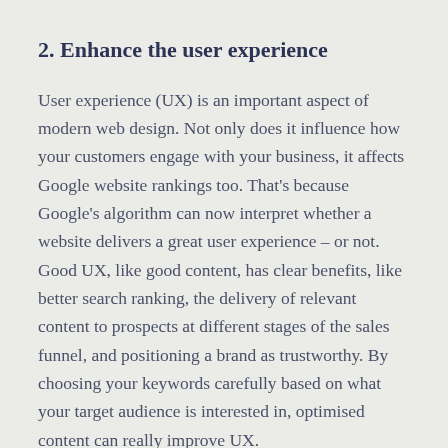2. Enhance the user experience
User experience (UX) is an important aspect of modern web design. Not only does it influence how your customers engage with your business, it affects Google website rankings too. That's because Google's algorithm can now interpret whether a website delivers a great user experience – or not. Good UX, like good content, has clear benefits, like better search ranking, the delivery of relevant content to prospects at different stages of the sales funnel, and positioning a brand as trustworthy. By choosing your keywords carefully based on what your target audience is interested in, optimised content can really improve UX.